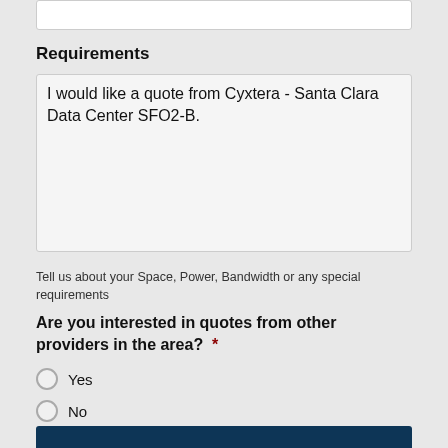Requirements
I would like a quote from Cyxtera - Santa Clara Data Center SFO2-B.
Tell us about your Space, Power, Bandwidth or any special requirements
Are you interested in quotes from other providers in the area?  *
Yes
No